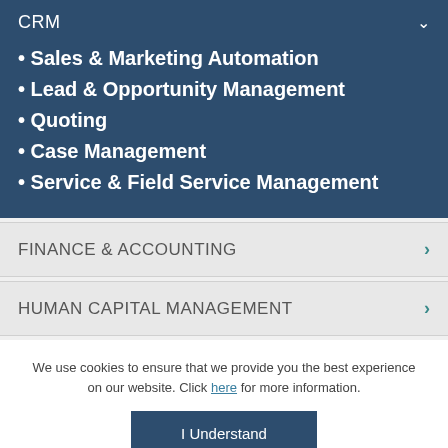CRM
Sales & Marketing Automation
Lead & Opportunity Management
Quoting
Case Management
Service & Field Service Management
FINANCE & ACCOUNTING
HUMAN CAPITAL MANAGEMENT
We use cookies to ensure that we provide you the best experience on our website. Click here for more information.
I Understand